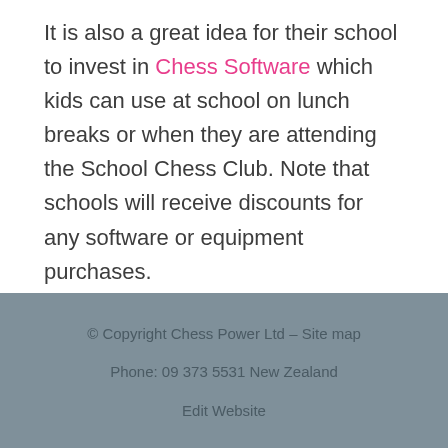It is also a great idea for their school to invest in Chess Software which kids can use at school on lunch breaks or when they are attending the School Chess Club. Note that schools will receive discounts for any software or equipment purchases.
© Copyright Chess Power Ltd - Site map
Phone: 09 373 5531 New Zealand
Edit Website